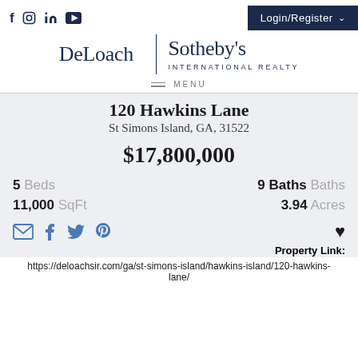DeLoach | Sotheby's INTERNATIONAL REALTY — Login/Register
≡ MENU
120 Hawkins Lane
St Simons Island, GA, 31522
$17,800,000
5 Beds   9 Baths Baths
11,000 SqFt   3.94 Acres
Property Link: https://deloachsir.com/ga/st-simons-island/hawkins-island/120-hawkins-lane/